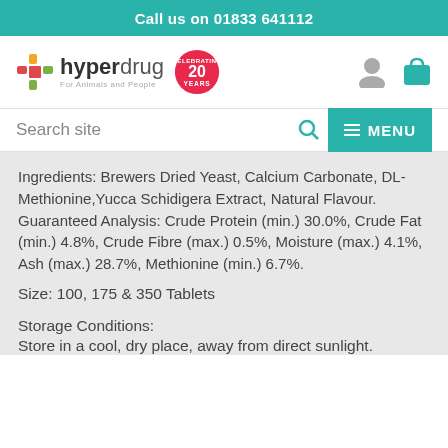Call us on 01833 641112
[Figure (logo): Hyperdrug logo with cross icon and '20 Years Celebrating' badge, plus user and cart icons]
Search site
Ingredients: Brewers Dried Yeast, Calcium Carbonate, DL-Methionine,Yucca Schidigera Extract, Natural Flavour. Guaranteed Analysis: Crude Protein (min.) 30.0%, Crude Fat (min.) 4.8%, Crude Fibre (max.) 0.5%, Moisture (max.) 4.1%, Ash (max.) 28.7%, Methionine (min.) 6.7%.
Size: 100, 175 & 350 Tablets
Storage Conditions:
Store in a cool, dry place, away from direct sunlight.